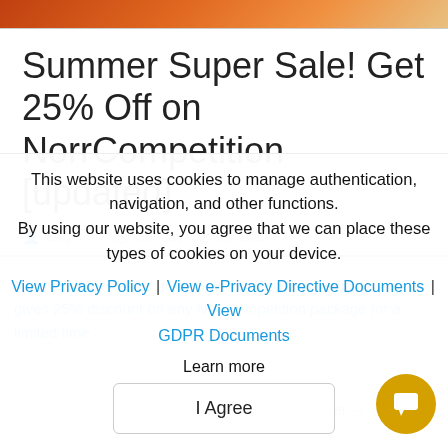[Figure (photo): Partial image strip at top, orange/warm tones]
Summer Super Sale! Get 25% Off on NorrCompetition [updated]
Eugene | Sunday, 09 July 2017
NorrNext has started great Sales on Summer Holidays and gives 25% discount on any NorrCompetition package for a limited time.
This website uses cookies to manage authentication, navigation, and other functions.
By using our website, you agree that we can place these types of cookies on your device.
View Privacy Policy | View e-Privacy Directive Documents | View GDPR Documents
Learn more
I Agree
Older →